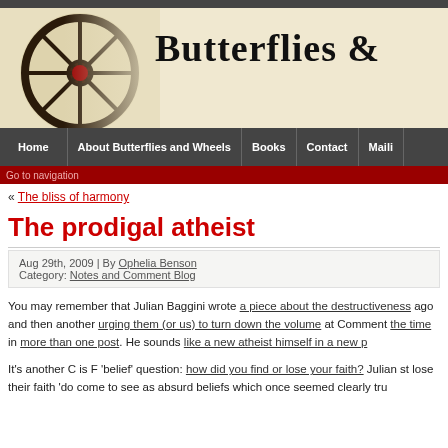[Figure (screenshot): Website header banner with wagon wheel image on left and 'BUTTERFLIES &' text on right, on a cream/tan background]
Home | About Butterflies and Wheels | Books | Contact | Mai...
« The bliss of harmony
The prodigal atheist
Aug 29th, 2009 | By Ophelia Benson
Category: Notes and Comment Blog
You may remember that Julian Baggini wrote a piece about the destructiveness ago and then another urging them (or us) to turn down the volume at Comment the time in more than one post. He sounds like a new atheist himself in a new p
It's another C is F 'belief' question: how did you find or lose your faith? Julian st lose their faith 'do come to see as absurd beliefs which once seemed clearly tru